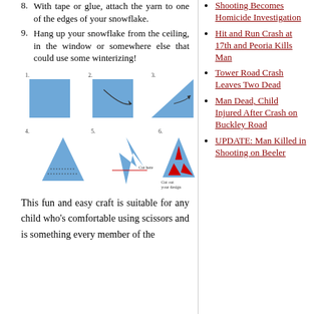8. With tape or glue, attach the yarn to one of the edges of your snowflake.
9. Hang up your snowflake from the ceiling, in the window or somewhere else that could use some winterizing!
[Figure (illustration): Six-step illustrated diagram showing how to fold and cut paper to make a snowflake: steps 1-3 show a blue square, folding with curved arrow, and folding into a triangle; steps 4-6 show folding into a smaller triangle with dotted cut lines, a star shape with cut-here line, and the final cut-out design with red decorative cuts.]
This fun and easy craft is suitable for any child who's comfortable using scissors and is something every member of the
Shooting Becomes Homicide Investigation
Hit and Run Crash at 17th and Peoria Kills Man
Tower Road Crash Leaves Two Dead
Man Dead, Child Injured After Crash on Buckley Road
UPDATE: Man Killed in Shooting on Beeler